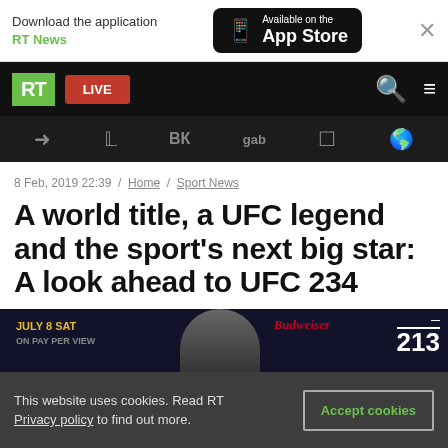Download the application RT News | Available on the App Store
[Figure (screenshot): RT website navigation bar with RT logo (green), LIVE button (red), search icon, and hamburger menu on black background]
[Figure (screenshot): Social media icons bar: Telegram, Twitter, VK, gab, another icon, and globe icon on dark background]
8 Feb, 2019 22:39 / Home / Sport News
A world title, a UFC legend and the sport's next big star: A look ahead to UFC 234
[Figure (photo): UFC event promotional image showing JULY 8 SAT text in gold, Budweiser branding, person silhouette, and UFC 213 logo]
This website uses cookies. Read RT Privacy policy to find out more.  [Accept cookies]